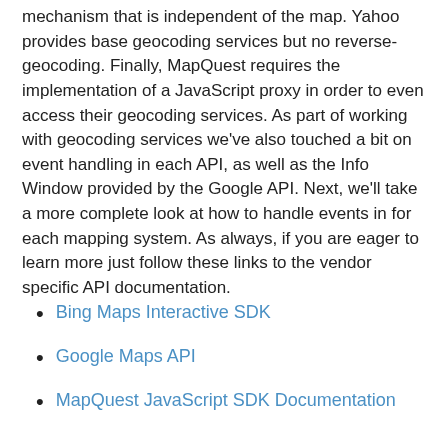mechanism that is independent of the map. Yahoo provides base geocoding services but no reverse-geocoding. Finally, MapQuest requires the implementation of a JavaScript proxy in order to even access their geocoding services. As part of working with geocoding services we've also touched a bit on event handling in each API, as well as the Info Window provided by the Google API. Next, we'll take a more complete look at how to handle events in for each mapping system. As always, if you are eager to learn more just follow these links to the vendor specific API documentation.
Bing Maps Interactive SDK
Google Maps API
MapQuest JavaScript SDK Documentation
Yahoo! Maps Web Services
Adam Jones at 11:04 PM
No comments: